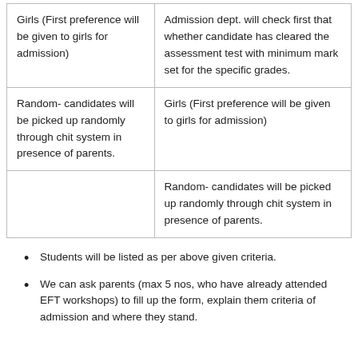| Girls (First preference will be given to girls for admission) | Admission dept. will check first that whether candidate has cleared the assessment test with minimum mark set for the specific grades. |
| Random- candidates will be picked up randomly through chit system in presence of parents. | Girls (First preference will be given to girls for admission) |
|  | Random- candidates will be picked up randomly through chit system in presence of parents. |
Students will be listed as per above given criteria.
We can ask parents (max 5 nos, who have already attended EFT workshops) to fill up the form, explain them criteria of admission and where they stand.